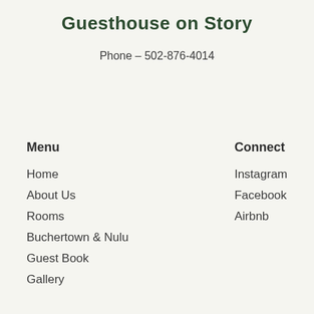Guesthouse on Story
Phone – 502-876-4014
Menu
Home
About Us
Rooms
Buchertown & Nulu
Guest Book
Gallery
Connect
Instagram
Facebook
Airbnb